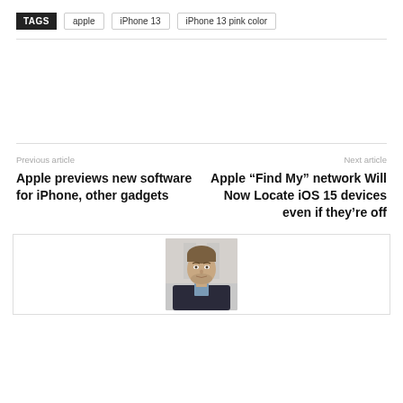TAGS  apple  iPhone 13  iPhone 13 pink color
Previous article
Apple previews new software for iPhone, other gadgets
Next article
Apple “Find My” network Will Now Locate iOS 15 devices even if they’re off
[Figure (photo): Author photo: man with beard in grey jacket]